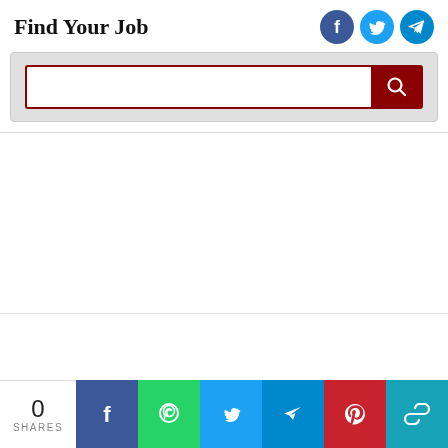Find Your Job
[Figure (infographic): Social media share icons: Facebook (blue circle), Twitter (cyan circle), Telegram (cyan circle)]
[Figure (screenshot): Search bar with dark red border and dark red search button with magnifying glass icon, inside a light gray container]
[Figure (infographic): Bottom share bar: count showing 0 SHARES, followed by Facebook (blue), WhatsApp (green), Twitter (light blue), Telegram (blue), Pinterest (red), and copy link (teal) buttons with white icons]